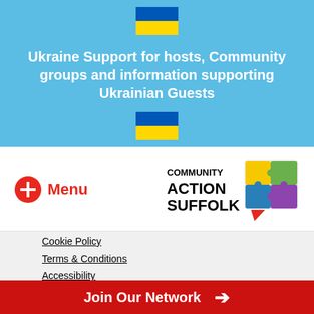[Figure (illustration): Ukrainian flag (blue top half, yellow bottom half) displayed at top of blue banner]
Ukraine Support for hosts, Community groups and information supporting Ukrainian Guests
[Figure (illustration): Ukrainian flag (blue top half, yellow bottom half) displayed at bottom of blue banner]
[Figure (logo): Menu button with red circle plus icon and red Menu text, plus Community Action Suffolk logo with colorful puzzle pieces]
Cookie Policy
Terms & Conditions
Accessibility
Complaints Procedure
Join Our Network →